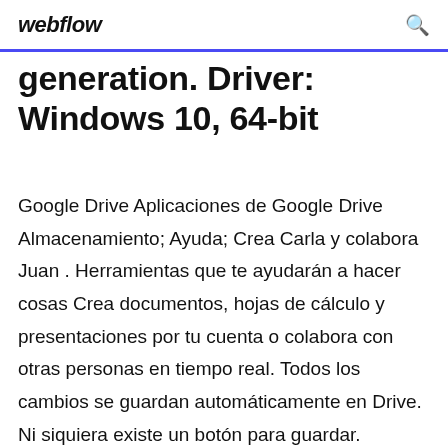webflow
generation. Driver: Windows 10, 64-bit
Google Drive Aplicaciones de Google Drive Almacenamiento; Ayuda; Crea Carla y colabora Juan . Herramientas que te ayudarán a hacer cosas Crea documentos, hojas de cálculo y presentaciones por tu cuenta o colabora con otras personas en tiempo real. Todos los cambios se guardan automáticamente en Drive. Ni siquiera existe un botón para guardar. Documentos Lista de la compra Sara García . Aguacates Google Maps Find local businesses, view maps and get driving directions in Google Maps. Automatically Backup Windows Server